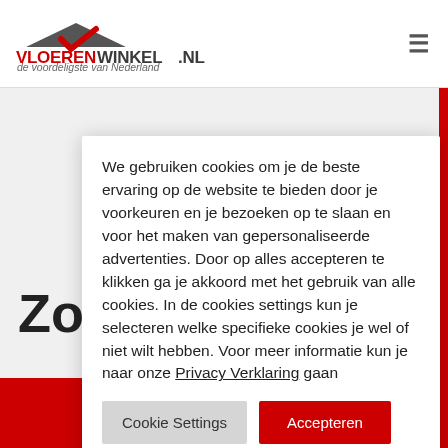[Figure (logo): Vloerenwinkel.nl logo with red checkmark and roofline icon, tagline 'de voordeligste van Nederland']
Ik zoek...
We gebruiken cookies om je de beste ervaring op de website te bieden door je voorkeuren en je bezoeken op te slaan en voor het maken van gepersonaliseerde advertenties. Door op alles accepteren te klikken ga je akkoord met het gebruik van alle cookies. In de cookies settings kun je selecteren welke specifieke cookies je wel of niet wilt hebben. Voor meer informatie kun je naar onze Privacy Verklaring gaan
Cookie Settings
Accepteren
Zo